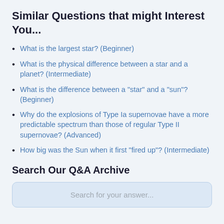Similar Questions that might Interest You...
What is the largest star? (Beginner)
What is the physical difference between a star and a planet? (Intermediate)
What is the difference between a "star" and a "sun"? (Beginner)
Why do the explosions of Type Ia supernovae have a more predictable spectrum than those of regular Type II supernovae? (Advanced)
How big was the Sun when it first "fired up"? (Intermediate)
Search Our Q&A Archive
Search for your answer...